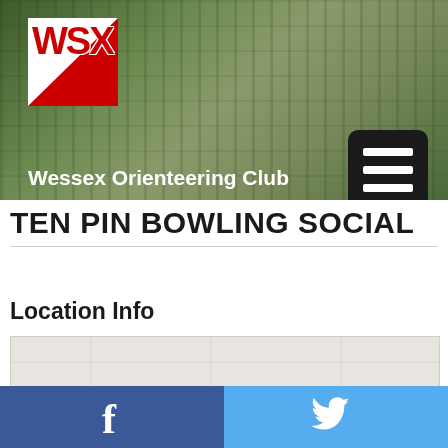[Figure (photo): Header banner showing Wessex Orienteering Club (WSX) logo with a forest/woodland background photo and navigation map. Includes hamburger menu button in top right.]
TEN PIN BOWLING SOCIAL
Location Info
[Figure (map): A light grey map placeholder area showing location information for the event.]
Facebook | Twitter social media links